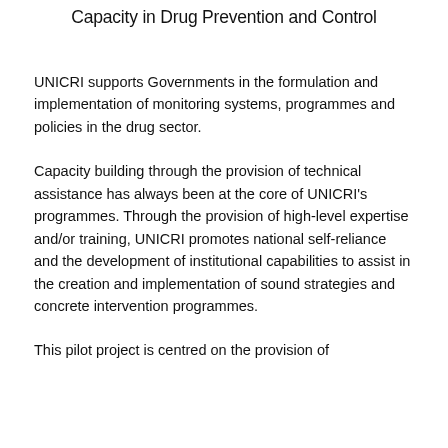Capacity in Drug Prevention and Control
UNICRI supports Governments in the formulation and implementation of monitoring systems, programmes and policies in the drug sector.
Capacity building through the provision of technical assistance has always been at the core of UNICRI’s programmes. Through the provision of high-level expertise and/or training, UNICRI promotes national self-reliance and the development of institutional capabilities to assist in the creation and implementation of sound strategies and concrete intervention programmes.
This pilot project is centred on the provision of